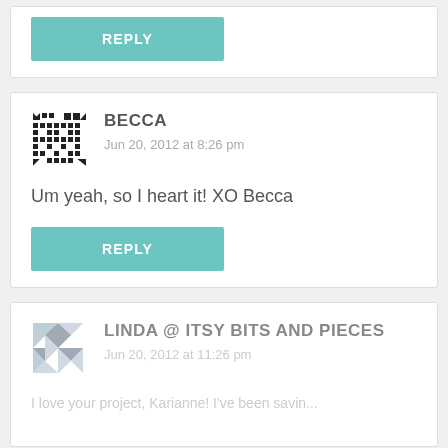[Figure (other): Reply button (teal) for previous comment]
BECCA
Jun 20, 2012 at 8:26 pm
Um yeah, so I heart it! XO Becca
[Figure (other): Reply button (teal) for Becca comment]
LINDA @ ITSY BITS AND PIECES
Jun 20, 2012 at 11:26 pm
I love your project, Karianne! I've been savin...